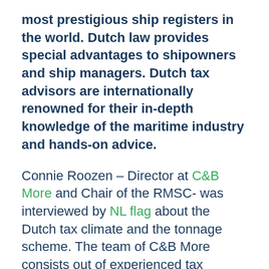most prestigious ship registers in the world. Dutch law provides special advantages to shipowners and ship managers. Dutch tax advisors are internationally renowned for their in-depth knowledge of the maritime industry and hands-on advice.
Connie Roozen – Director at C&B More and Chair of the RMSC- was interviewed by NL flag about the Dutch tax climate and the tonnage scheme. The team of C&B More consists out of experienced tax advisors with affinity with the maritime industry.